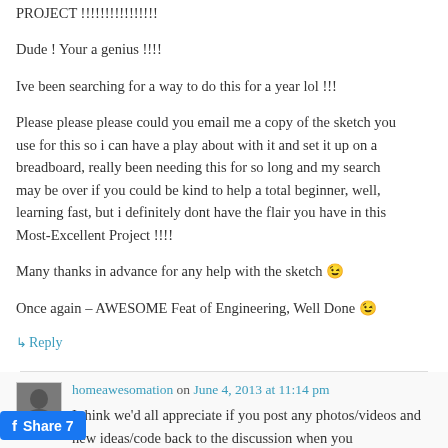PROJECT !!!!!!!!!!!!!!!!
Dude ! Your a genius !!!!
Ive been searching for a way to do this for a year lol !!!
Please please please could you email me a copy of the sketch you use for this so i can have a play about with it and set it up on a breadboard, really been needing this for so long and my search may be over if you could be kind to help a total beginner, well, learning fast, but i definitely dont have the flair you have in this Most-Excellent Project !!!!
Many thanks in advance for any help with the sketch 😉
Once again – AWESOME Feat of Engineering, Well Done 😉
↳ Reply
homeawesomation on June 4, 2013 at 11:14 pm
I think we'd all appreciate if you post any photos/videos and new ideas/code back to the discussion when you